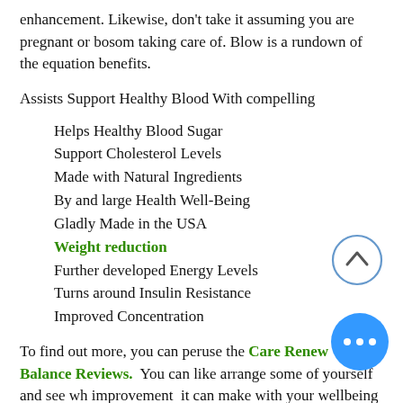enhancement. Likewise, don't take it assuming you are pregnant or bosom taking care of. Blow is a rundown of the equation benefits.
Assists Support Healthy Blood With compelling
Helps Healthy Blood Sugar
Support Cholesterol Levels
Made with Natural Ingredients
By and large Health Well-Being
Gladly Made in the USA
Weight reduction
Further developed Energy Levels
Turns around Insulin Resistance
Improved Concentration
To find out more, you can peruse the Care Renew Balance Reviews.  You can like arrange some of yourself and see wh improvement  it can make with your wellbeing and your life! At long last, have
[Figure (other): Up arrow circular button (chevron up icon in circle outline)]
[Figure (other): Blue circular button with three dots (more options)]